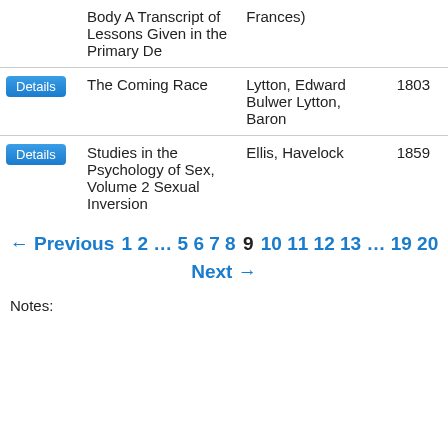|  | Title | Author | Year |  |
| --- | --- | --- | --- | --- |
|  | Body A Transcript of Lessons Given in the Primary De | Frances) |  |  |
| Details | The Coming Race | Lytton, Edward Bulwer Lytton, Baron | 1803 |  |
| Details | Studies in the Psychology of Sex, Volume 2 Sexual Inversion | Ellis, Havelock | 1859 |  |
← Previous 1 2 … 5 6 7 8 9 10 11 12 13 … 19 20 Next →
Notes: